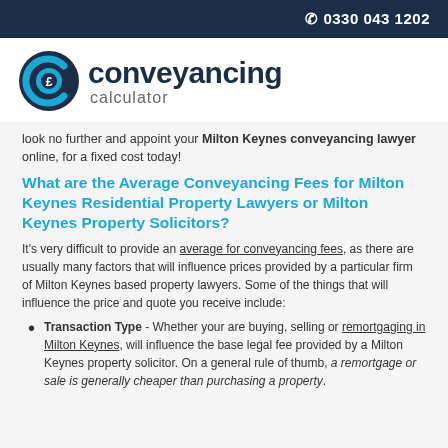0330 043 1202
[Figure (logo): Conveyancing Calculator logo with stylized C-pound sign icon in navy and blue, followed by 'conveyancing calculator' text]
look no further and appoint your Milton Keynes conveyancing lawyer online, for a fixed cost today!
What are the Average Conveyancing Fees for Milton Keynes Residential Property Lawyers or Milton Keynes Property Solicitors?
It's very difficult to provide an average for conveyancing fees, as there are usually many factors that will influence prices provided by a particular firm of Milton Keynes based property lawyers. Some of the things that will influence the price and quote you receive include:
Transaction Type - Whether your are buying, selling or remortgaging in Milton Keynes, will influence the base legal fee provided by a Milton Keynes property solicitor. On a general rule of thumb, a remortgage or sale is generally cheaper than purchasing a property.